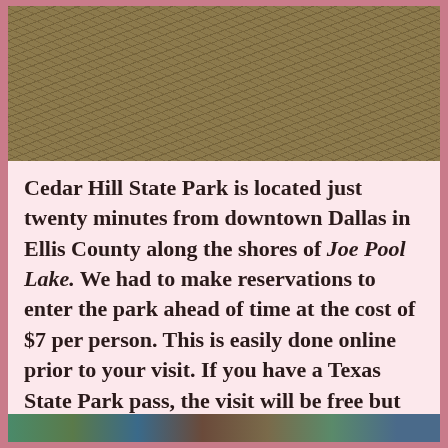[Figure (photo): Close-up photograph of dry, dead grass or scrub vegetation, brown and tan in color, covering the entire frame.]
Cedar Hill State Park is located just twenty minutes from downtown Dallas in Ellis County along the shores of Joe Pool Lake. We had to make reservations to enter the park ahead of time at the cost of $7 per person. This is easily done online prior to your visit. If you have a Texas State Park pass, the visit will be free but you still need a reservation to enter due to the pandemic or you will be turned away.
[Figure (photo): Partial view of colorful outdoor scene at the bottom of the page, partially cropped.]